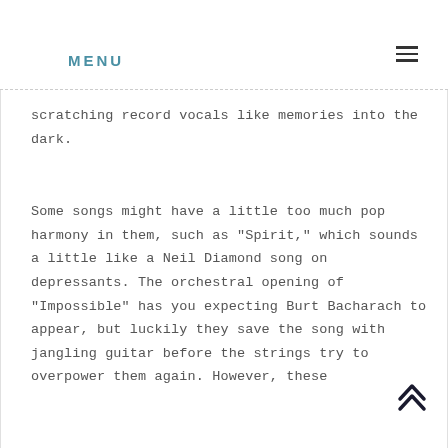MENU
scratching record vocals like memories into the dark.
Some songs might have a little too much pop harmony in them, such as "Spirit," which sounds a little like a Neil Diamond song on depressants. The orchestral opening of "Impossible" has you expecting Burt Bacharach to appear, but luckily they save the song with jangling guitar before the strings try to overpower them again. However, these